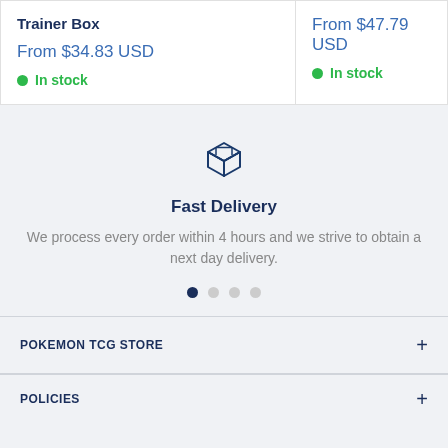Trainer Box
From $34.83 USD
In stock
From $47.79 USD
In stock
[Figure (illustration): Box/package delivery icon in dark blue outline style]
Fast Delivery
We process every order within 4 hours and we strive to obtain a next day delivery.
POKEMON TCG STORE
POLICIES